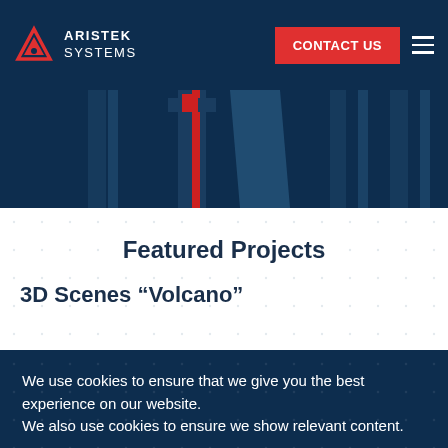ARISTEK SYSTEMS
[Figure (illustration): Partial view of a 3D industrial/engineering scene with dark blue background showing architectural columns and geometric shapes in dark blue and red tones]
Featured Projects
3D Scenes “Volcano”
We use cookies to ensure that we give you the best experience on our website.
We also use cookies to ensure we show relevant content.
Accept